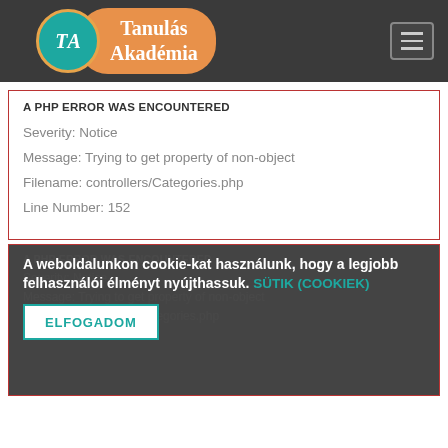[Figure (logo): Tanulás Akadémia logo with teal circle and orange pill-shaped banner, hamburger menu icon on right, dark background header]
A PHP ERROR WAS ENCOUNTERED
Severity: Notice
Message: Trying to get property of non-object
Filename: controllers/Categories.php
Line Number: 152
A PHP ERROR WAS ENCOUNTERED
Severity: Notice
Message: Trying to get property of non-object
Filename: controllers/Categories.php
A weboldalunkon cookie-kat használunk, hogy a legjobb felhasználói élményt nyújthassuk. SÜTIK (COOKIEK)
ELFOGADOM